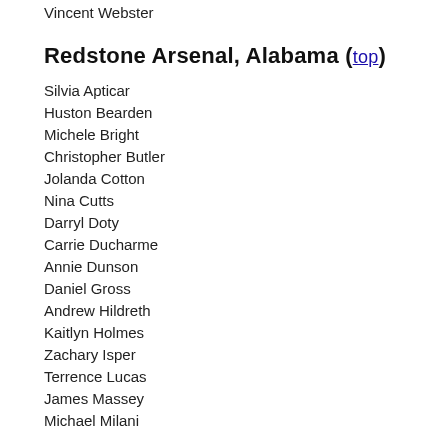Vincent Webster
Redstone Arsenal, Alabama (top)
Silvia Apticar
Huston Bearden
Michele Bright
Christopher Butler
Jolanda Cotton
Nina Cutts
Darryl Doty
Carrie Ducharme
Annie Dunson
Daniel Gross
Andrew Hildreth
Kaitlyn Holmes
Zachary Isper
Terrence Lucas
James Massey
Michael Milani